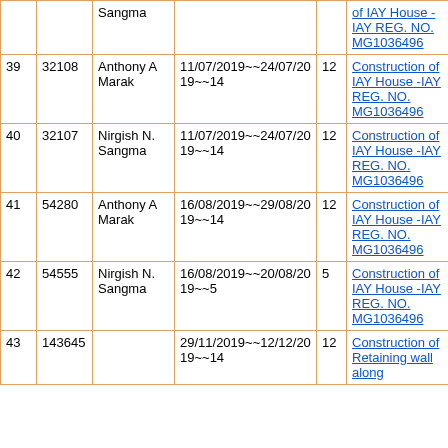| # | ID | Name | Date Range | Days | Work |
| --- | --- | --- | --- | --- | --- |
|  |  | Sangma |  |  | Construction of IAY House -IAY REG. NO. MG1036496 |
| 39 | 32108 | Anthony A Marak | 11/07/2019~~24/07/2019~~14 | 12 | Construction of IAY House -IAY REG. NO. MG1036496 |
| 40 | 32107 | Nirgish N. Sangma | 11/07/2019~~24/07/2019~~14 | 12 | Construction of IAY House -IAY REG. NO. MG1036496 |
| 41 | 54280 | Anthony A Marak | 16/08/2019~~29/08/2019~~14 | 12 | Construction of IAY House -IAY REG. NO. MG1036496 |
| 42 | 54555 | Nirgish N. Sangma | 16/08/2019~~20/08/2019~~5 | 5 | Construction of IAY House -IAY REG. NO. MG1036496 |
| 43 | 143645 |  | 29/11/2019~~12/12/2019~~14 | 12 | Construction of Retaining wall along... |